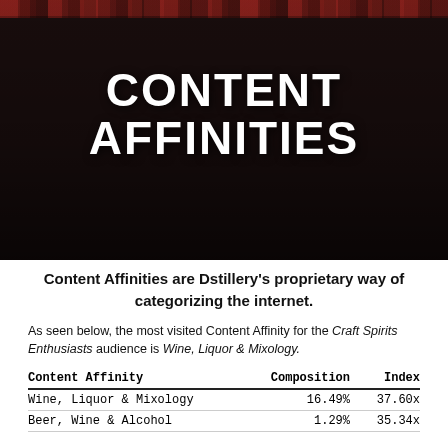[Figure (photo): Movie theater audience seated in red chairs, crowd of people visible in a darkened cinema, viewed from the front toward the audience]
CONTENT AFFINITIES
Content Affinities are Dstillery's proprietary way of categorizing the internet.
As seen below, the most visited Content Affinity for the Craft Spirits Enthusiasts audience is Wine, Liquor & Mixology.
| Content Affinity | Composition | Index |
| --- | --- | --- |
| Wine, Liquor & Mixology | 16.49% | 37.60x |
| Beer, Wine & Alcohol | 1.29% | 35.34x |